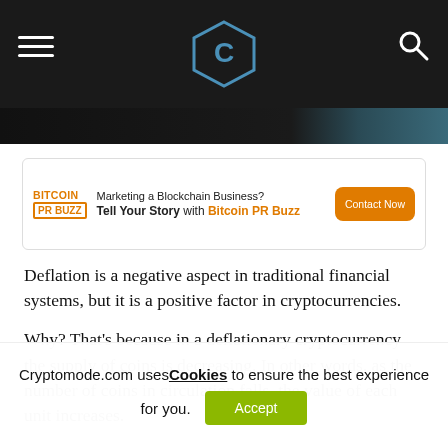CryptoMode navigation bar with logo
[Figure (screenshot): Partial image strip below nav bar, dark background fading to teal]
[Figure (other): Bitcoin PR Buzz advertisement banner: Marketing a Blockchain Business? Tell Your Story with Bitcoin PR Buzz. Contact Now button.]
Deflation is a negative aspect in traditional financial systems, but it is a positive factor in cryptocurrencies.
Why? That's because in a deflationary cryptocurrency the supply of coins is decreasing. In other words, as the number of coins in circulation falls, the value of each unit increases.
Almost a year ago, deflationary tokens became very popular. And as the time has passed, those tokens' circulating supply
Cryptomode.com uses Cookies to ensure the best experience for you.